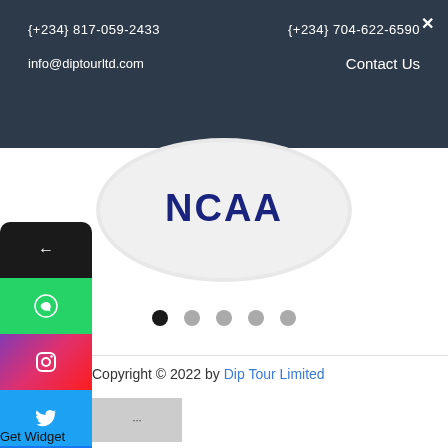{+234} 817-059-2433    {+234} 704-622-6590    info@diptourltd.com    Contact Us
[Figure (logo): NCAA circular logo with dark blue text on grey/white background, partially visible at bottom of header]
[Figure (other): Carousel navigation dots: one black (active) and four grey (inactive)]
Copyright © 2022 by Dip Tour Limited
[Figure (other): Social media sidebar with icons: back arrow (black), WhatsApp (green), Instagram (gradient), Twitter (blue), Facebook (blue), LinkedIn (blue), YouTube (red)]
Get Widget